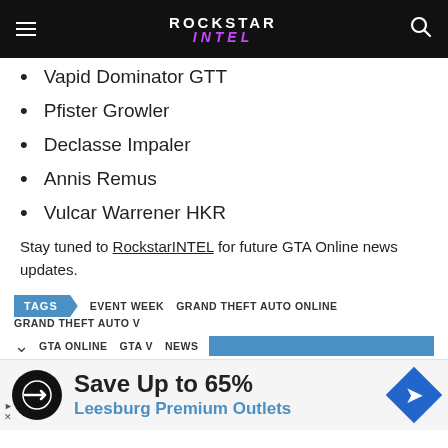Rockstar Intel
Vapid Dominator GTT
Pfister Growler
Declasse Impaler
Annis Remus
Vulcar Warrener HKR
Stay tuned to RockstarINTEL for future GTA Online news updates.
TAGS  EVENT WEEK  GRAND THEFT AUTO ONLINE  GRAND THEFT AUTO V
GTA ONLINE  GTA V  NEWS
[Figure (infographic): Advertisement: Save Up to 65% - Leesburg Premium Outlets]